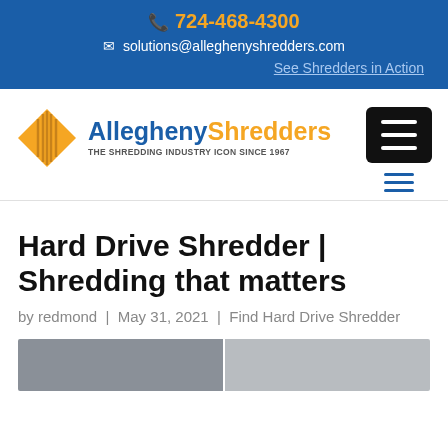724-468-4300 | solutions@alleghenyshredders.com | See Shredders in Action
[Figure (logo): Allegheny Shredders logo with gold diamond shape and blue/gold text reading 'AlleghenyShredders — THE SHREDDING INDUSTRY ICON SINCE 1967']
Hard Drive Shredder | Shredding that matters
by redmond | May 31, 2021 | Find Hard Drive Shredder
[Figure (photo): Bottom portion of page showing partial view of industrial shredder facility photos]